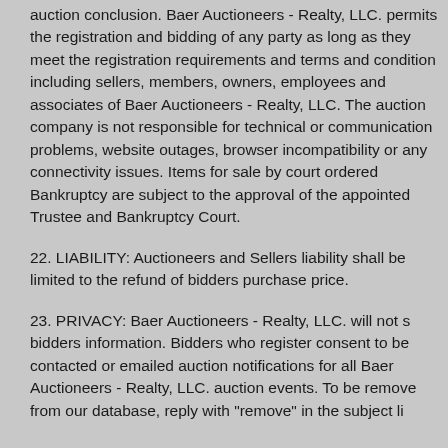auction conclusion. Baer Auctioneers - Realty, LLC. permits the registration and bidding of any party as long as they meet the registration requirements and terms and condition including sellers, members, owners, employees and associates of Baer Auctioneers - Realty, LLC. The auction company is not responsible for technical or communication problems, website outages, browser incompatibility or any connectivity issues. Items for sale by court ordered Bankruptcy are subject to the approval of the appointed Trustee and Bankruptcy Court.
22. LIABILITY: Auctioneers and Sellers liability shall be limited to the refund of bidders purchase price.
23. PRIVACY: Baer Auctioneers - Realty, LLC. will not sell bidders information. Bidders who register consent to be contacted or emailed auction notifications for all Baer Auctioneers - Realty, LLC. auction events. To be removed from our database, reply with "remove" in the subject line.